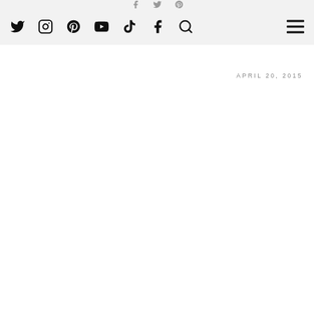Twitter Instagram Pinterest YouTube TikTok Facebook Search [hamburger menu]
APRIL 20, 2015